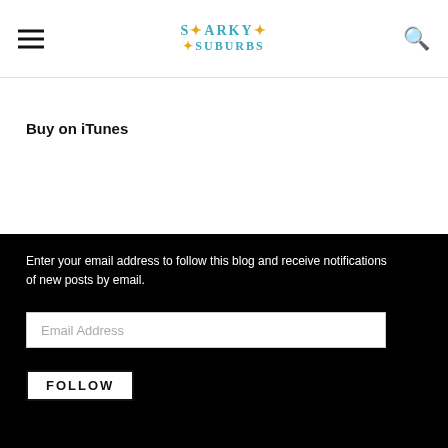Snarky in the Suburbs
Buy on iTunes
Enter your email address to follow this blog and receive notifications of new posts by email.
Email Address
FOLLOW